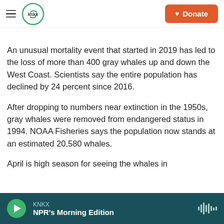KNKX | Donate
An unusual mortality event that started in 2019 has led to the loss of more than 400 gray whales up and down the West Coast. Scientists say the entire population has declined by 24 percent since 2016.
After dropping to numbers near extinction in the 1950s, gray whales were removed from endangered status in 1994. NOAA Fisheries says the population now stands at an estimated 20,580 whales.
April is high season for seeing the whales in
KNKX | NPR's Morning Edition